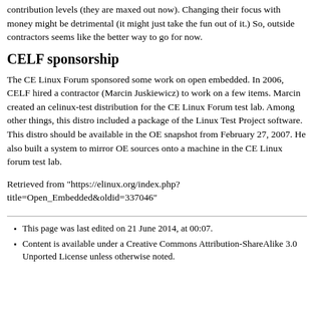contribution levels (they are maxed out now). Changing their focus with money might be detrimental (it might just take the fun out of it.) So, outside contractors seems like the better way to go for now.
CELF sponsorship
The CE Linux Forum sponsored some work on open embedded. In 2006, CELF hired a contractor (Marcin Juskiewicz) to work on a few items. Marcin created an celinux-test distribution for the CE Linux Forum test lab. Among other things, this distro included a package of the Linux Test Project software. This distro should be available in the OE snapshot from February 27, 2007. He also built a system to mirror OE sources onto a machine in the CE Linux forum test lab.
Retrieved from "https://elinux.org/index.php?title=Open_Embedded&oldid=337046"
This page was last edited on 21 June 2014, at 00:07.
Content is available under a Creative Commons Attribution-ShareAlike 3.0 Unported License unless otherwise noted.